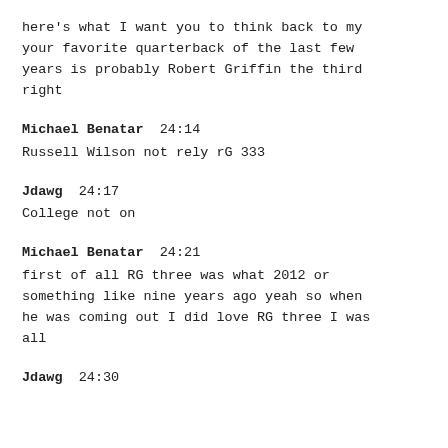here's what I want you to think back to my your favorite quarterback of the last few years is probably Robert Griffin the third right
Michael Benatar  24:14
Russell Wilson not rely rG 333
Jdawg  24:17
College not on
Michael Benatar  24:21
first of all RG three was what 2012 or something like nine years ago yeah so when he was coming out I did love RG three I was all
Jdawg  24:30